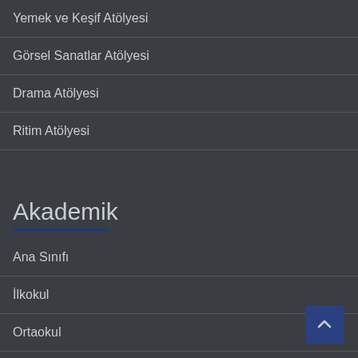Yemek ve Keşif Atölyesi
Görsel Sanatlar Atölyesi
Drama Atölyesi
Ritim Atölyesi
Akademik
Ana Sınıfı
İlkokul
Ortaokul
Lise